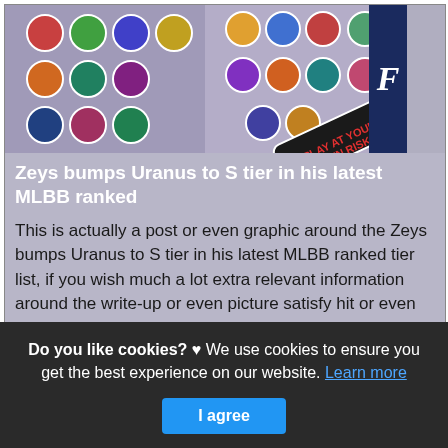[Figure (photo): Grid of circular avatar icons from Mobile Legends Bang Bang game characters arranged in rows, with a dark blue sidebar showing letter F on the right]
Zeys bumps Uranus to S tier in his latest MLBB ranked
This is actually a post or even graphic around the Zeys bumps Uranus to S tier in his latest MLBB ranked tier list, if you wish much a lot extra relevant information around the write-up or even picture satisfy hit or even explore the adhering to web link or even web link .
(Read More)
Source: www.oneesports.gg Visit Web
Do you like cookies? ♥ We use cookies to ensure you get the best experience on our website. Learn more
I agree